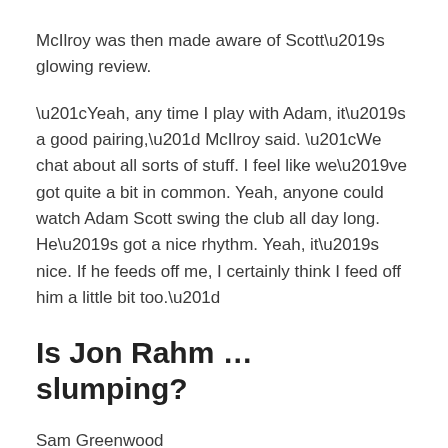McIlroy was then made aware of Scott's glowing review.
“Yeah, any time I play with Adam, it’s a good pairing,” McIlroy said. “We chat about all sorts of stuff. I feel like we’ve got quite a bit in common. Yeah, anyone could watch Adam Scott swing the club all day long. He’s got a nice rhythm. Yeah, it’s nice. If he feeds off me, I certainly think I feed off him a little bit too.”
Is Jon Rahm … slumping?
Sam Greenwood
It’s a patently ridiculous question to even ask, but Rahm has been on a patently ridiculous run of consistency … until the last few weeks. The World No. 1 saw his streak of